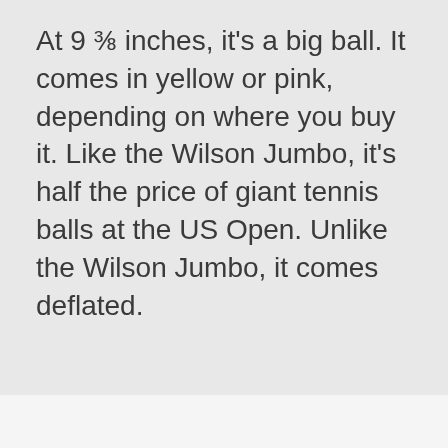At 9 ⅜ inches, it's a big ball. It comes in yellow or pink, depending on where you buy it. Like the Wilson Jumbo, it's half the price of giant tennis balls at the US Open. Unlike the Wilson Jumbo, it comes deflated.